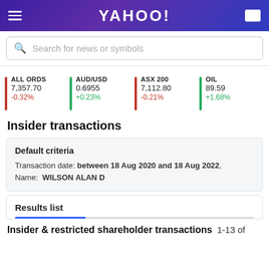Yahoo!
Search for news or symbols
ALL ORDS 7,357.70 -0.32% | AUD/USD 0.6955 +0.23% | ASX 200 7,112.80 -0.21% | OIL 89.59 +1.68%
Insider transactions
Default criteria
Transaction date: between 18 Aug 2020 and 18 Aug 2022, Name: WILSON ALAN D
Results list
Insider & restricted shareholder transactions 1-13 of